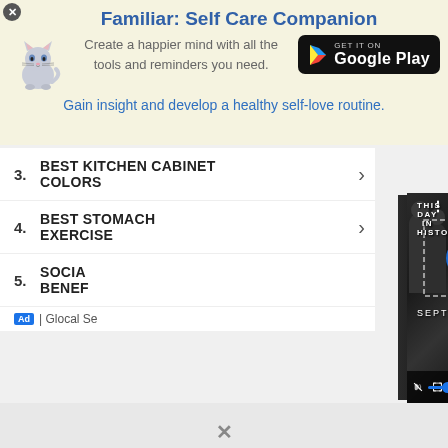[Figure (screenshot): App advertisement banner for 'Familiar: Self Care Companion' with cat illustration and Google Play button]
Familiar: Self Care Companion
Create a happier mind with all the tools and reminders you need.
Gain insight and develop a healthy self-love routine.
3. BEST KITCHEN CABINET COLORS
4. BEST STOMACH EXERCISE
5. SOCIAL BENER...
Ad | Glocal Se...
[Figure (screenshot): THIS DAY IN HISTORY video player panel overlapping the list, showing black and white photo of people, with SEPTEMBER label, play button, mute icon, progress bar, and fullscreen button]